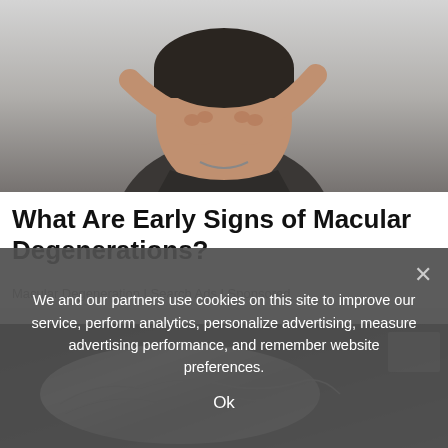[Figure (photo): Man rubbing or covering his eyes with both fists, wearing a dark shirt, against a grey background]
What Are Early Signs of Macular Degenerations?
Macular Degeneration | Search Ads | Sponsored
[Figure (photo): Close-up of a foil-wrapped object on a dark background]
We and our partners use cookies on this site to improve our service, perform analytics, personalize advertising, measure advertising performance, and remember website preferences.
Ok